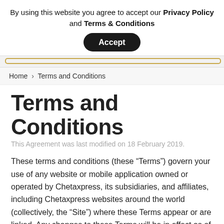By using this website you agree to accept our Privacy Policy and Terms & Conditions
Accept
Home > Terms and Conditions
Terms and Conditions
This Agreement was last modified on 18 February 2019.
These terms and conditions (these “Terms”) govern your use of any website or mobile application owned or operated by Chetaxpress, its subsidiaries, and affiliates, including Chetaxpress websites around the world (collectively, the “Site”) where these Terms appear or are linked. Any changes to these Terms will be in effect as of the “Last Updated Date”